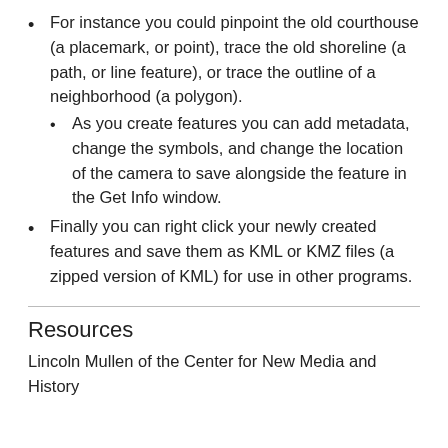For instance you could pinpoint the old courthouse (a placemark, or point), trace the old shoreline (a path, or line feature), or trace the outline of a neighborhood (a polygon).
As you create features you can add metadata, change the symbols, and change the location of the camera to save alongside the feature in the Get Info window.
Finally you can right click your newly created features and save them as KML or KMZ files (a zipped version of KML) for use in other programs.
Resources
Lincoln Mullen of the Center for New Media and History